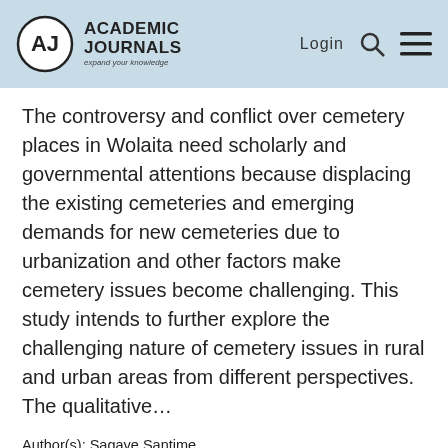Academic Journals — expand your knowledge | Login
The controversy and conflict over cemetery places in Wolaita need scholarly and governmental attentions because displacing the existing cemeteries and emerging demands for new cemeteries due to urbanization and other factors make cemetery issues become challenging. This study intends to further explore the challenging nature of cemetery issues in rural and urban areas from different perspectives. The qualitative…
Author(s): Sagaye Santime
https://doi.org/10.5897/IJSA2018.0794  |  Article Number: 641856760602
Abstract